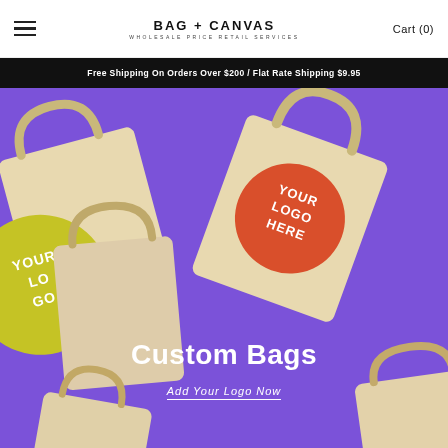BAG + CANVAS
WHOLESALE PRICE RETAIL SERVICES   Cart (0)
Free Shipping On Orders Over $200 / Flat Rate Shipping $9.95
[Figure (photo): Hero image showing canvas tote bags on a purple background. Bags have circular logo placeholders — one red circle with 'YOUR LOGO HERE' text and one yellow-green circle with partial text — illustrating custom bag printing service.]
Custom Bags
Add Your Logo Now